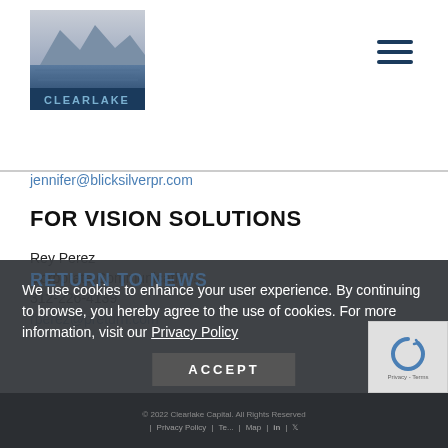[Figure (logo): Clearlake logo with mountain/lake landscape and CLEARLAKE text]
jennifer@blicksilverpr.com
FOR VISION SOLUTIONS
Rey Perez
Corporate Communications
312-226-4139
rperez@preturn.com
We use cookies to enhance your user experience. By continuing to browse, you hereby agree to the use of cookies. For more information, visit our Privacy Policy
© 2022 Clearlake Capital. All Rights Reserved | Privacy Policy | Te... | Map | in | Twitter